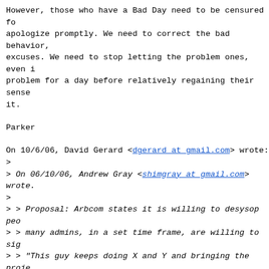However, those who have a Bad Day need to be censured for apologize promptly. We need to correct the bad behavior, excuses. We need to stop letting the problem ones, even i problem for a day before relatively regaining their sense it.
Parker
On 10/6/06, David Gerard <dgerard at gmail.com> wrote:
>
> On 06/10/06, Andrew Gray <shimgray at gmail.com> wrote:
>
> > Proposal: Arbcom states it is willing to desysop peo
> > many admins, in a set time frame, are willing to sig
> > "This guy keeps doing X and Y and bringing the proje
> > by so doing"? He's gone, and he can RFA if he wants
> > (Arbcom would have the power to say "go away" to fri
> > of course)
> > This proposal is based on the key, and possibly fall
> > that 90% of admins are sane sensible quiet people wh
> > A Tosser when it's pointed out to them. (Restricting
> > isn't meant to be some kind of elegant blackball sys
> > RFA, just to get some guaranteed sanity involved...)
>
>
> Given recent conflicts on the wiki, particularly the s
> nasty one on RFAr right now, I doubt it would *guarante
> might be something.
>
> But ... I'm still waiting for anything resembling veri